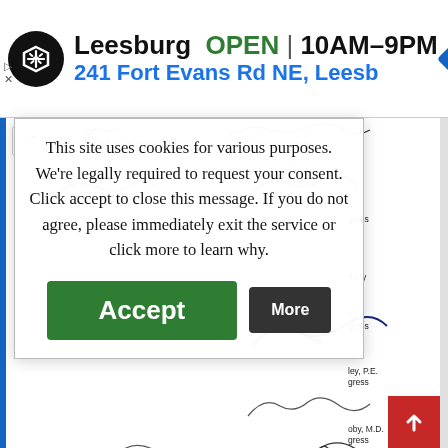[Figure (screenshot): Ad banner for a store in Leesburg showing OPEN 10AM-9PM and address 241 Fort Evans Rd NE, Leesburg with navigation icon and logo]
[Figure (screenshot): Cookie consent overlay popup with text: This site uses cookies for various purposes. We're legally required to request your consent. Click accept to close this message. If you do not agree, please immediately exit the service or click more to learn why. With Accept (green) and More (dark) buttons.]
Mariannette Miller- Meeks, M.D.
Member of Congress
Paul A. Gosar, D.D.S.
Member of Congress
tress
ffany
ny
gress
ley, P.E.
gress
oby, M.D.
gress